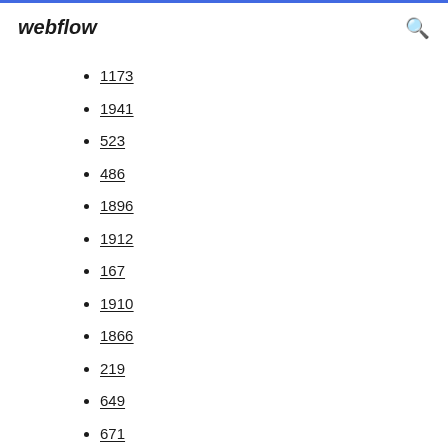webflow
1173
1941
523
486
1896
1912
167
1910
1866
219
649
671